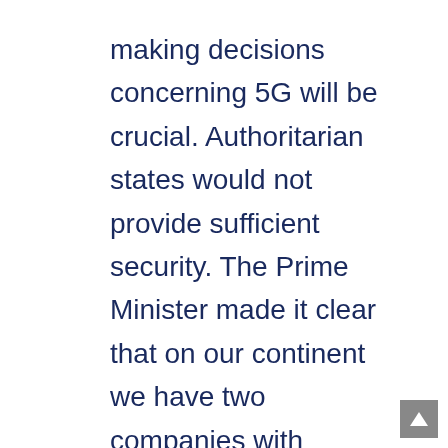making decisions concerning 5G will be crucial. Authoritarian states would not provide sufficient security. The Prime Minister made it clear that on our continent we have two companies with “transparent business practices based on the rule of law” and “companies controlled by an authoritarian regime.” Further, the Prime Minister points out that technological security is a key component of the whole national